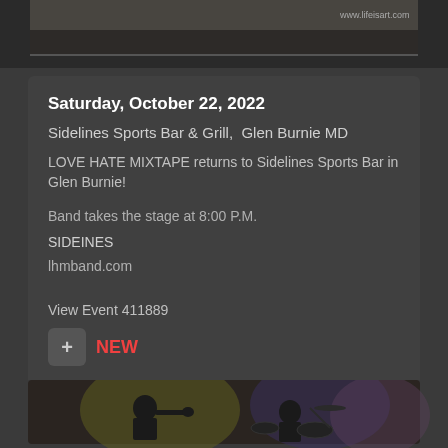[Figure (photo): Top cropped image strip showing partial content with URL text visible in top right]
Saturday, October 22, 2022
Sidelines Sports Bar & Grill,  Glen Burnie MD
LOVE HATE MIXTAPE returns to Sidelines Sports Bar in Glen Burnie!
Band takes the stage at 8:00 P.M.
SIDEINES
lhmband.com
View Event 411889
NEW
[Figure (photo): Bottom image strip showing musicians on stage with dramatic lighting, trumpet player and drummer visible]